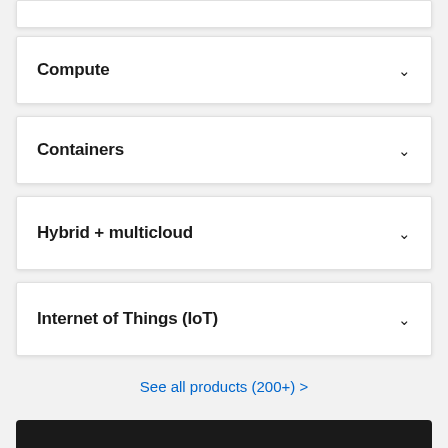Compute
Containers
Hybrid + multicloud
Internet of Things (IoT)
See all products (200+) >